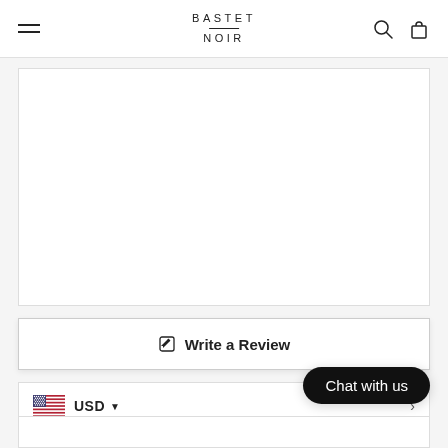BASTET NOIR
[Figure (other): Large white product image area with border]
✎  Write a Review
USD ▼
Chat with us